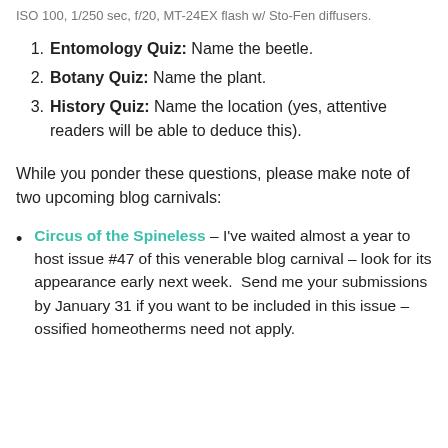ISO 100, 1/250 sec, f/20, MT-24EX flash w/ Sto-Fen diffusers.
Entomology Quiz: Name the beetle.
Botany Quiz: Name the plant.
History Quiz: Name the location (yes, attentive readers will be able to deduce this).
While you ponder these questions, please make note of two upcoming blog carnivals:
Circus of the Spineless – I've waited almost a year to host issue #47 of this venerable blog carnival – look for its appearance early next week.  Send me your submissions by January 31 if you want to be included in this issue – ossified homeotherms need not apply.